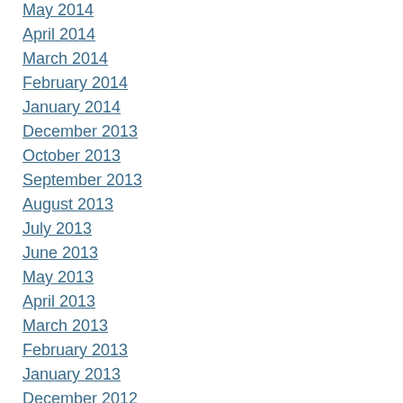May 2014
April 2014
March 2014
February 2014
January 2014
December 2013
October 2013
September 2013
August 2013
July 2013
June 2013
May 2013
April 2013
March 2013
February 2013
January 2013
December 2012
November 2012
October 2012